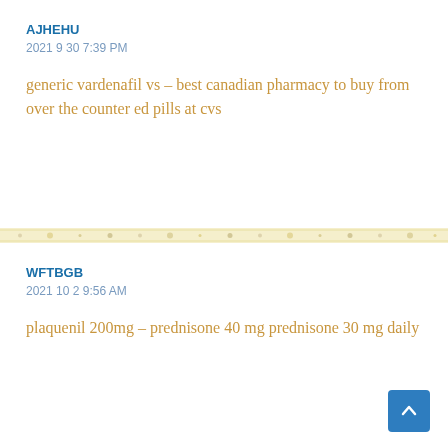AJHEHU
2021⊐30⊐ 7:39 PM
generic vardenafil vs – best canadian pharmacy to buy from over the counter ed pills at cvs
WFTBGB
2021⊐10⊐2⊐ 9:56 AM
plaquenil 200mg – prednisone 40 mg prednisone 30 mg daily